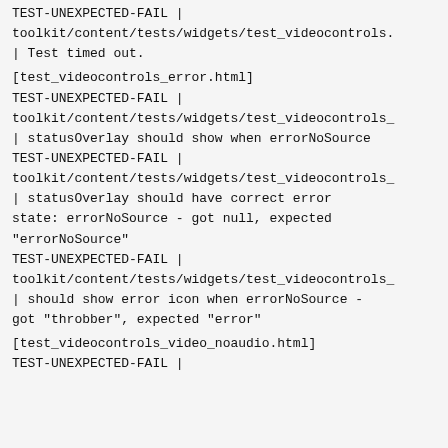TEST-UNEXPECTED-FAIL | toolkit/content/tests/widgets/test_videocontrols. | Test timed out.
[test_videocontrols_error.html]
TEST-UNEXPECTED-FAIL |
toolkit/content/tests/widgets/test_videocontrols_
| statusOverlay should show when errorNoSource
TEST-UNEXPECTED-FAIL |
toolkit/content/tests/widgets/test_videocontrols_
| statusOverlay should have correct error state: errorNoSource - got null, expected "errorNoSource"
TEST-UNEXPECTED-FAIL |
toolkit/content/tests/widgets/test_videocontrols_
| should show error icon when errorNoSource - got "throbber", expected "error"
[test_videocontrols_video_noaudio.html]
TEST-UNEXPECTED-FAIL |